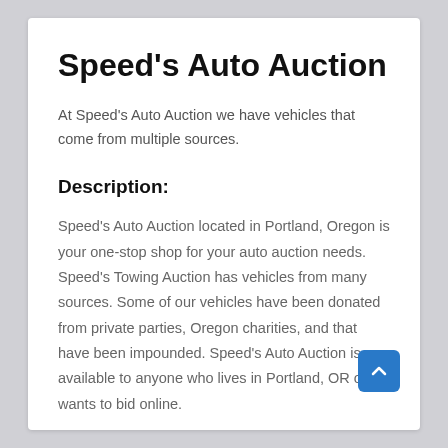Speed's Auto Auction
At Speed's Auto Auction we have vehicles that come from multiple sources.
Description:
Speed's Auto Auction located in Portland, Oregon is your one-stop shop for your auto auction needs. Speed's Towing Auction has vehicles from many sources. Some of our vehicles have been donated from private parties, Oregon charities, and that have been impounded. Speed's Auto Auction is available to anyone who lives in Portland, OR or wants to bid online.